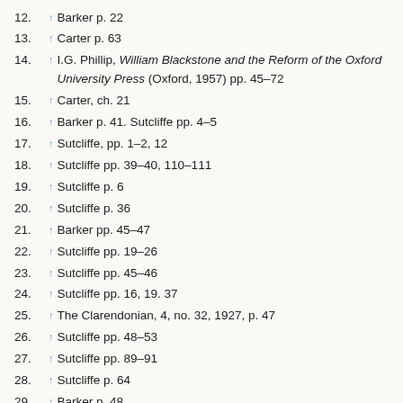12. ↑ Barker p. 22
13. ↑ Carter p. 63
14. ↑ I.G. Phillip, William Blackstone and the Reform of the Oxford University Press (Oxford, 1957) pp. 45–72
15. ↑ Carter, ch. 21
16. ↑ Barker p. 41. Sutcliffe pp. 4–5
17. ↑ Sutcliffe, pp. 1–2, 12
18. ↑ Sutcliffe pp. 39–40, 110–111
19. ↑ Sutcliffe p. 6
20. ↑ Sutcliffe p. 36
21. ↑ Barker pp. 45–47
22. ↑ Sutcliffe pp. 19–26
23. ↑ Sutcliffe pp. 45–46
24. ↑ Sutcliffe pp. 16, 19. 37
25. ↑ The Clarendonian, 4, no. 32, 1927, p. 47
26. ↑ Sutcliffe pp. 48–53
27. ↑ Sutcliffe pp. 89–91
28. ↑ Sutcliffe p. 64
29. ↑ Barker p. 48
30. ↑ Sutcliffe pp. 53–58
31. ↑ Sutcliffe pp. 56–57